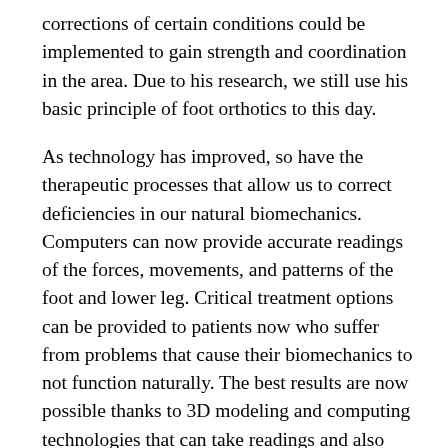corrections of certain conditions could be implemented to gain strength and coordination in the area. Due to his research, we still use his basic principle of foot orthotics to this day.
As technology has improved, so have the therapeutic processes that allow us to correct deficiencies in our natural biomechanics. Computers can now provide accurate readings of the forces, movements, and patterns of the foot and lower leg. Critical treatment options can be provided to patients now who suffer from problems that cause their biomechanics to not function naturally. The best results are now possible thanks to 3D modeling and computing technologies that can take readings and also map out what treatment will do to the affected areas.
These advanced corrective methods were able to come to light thanks to an increase in both the technologies surrounding biomechanics and also the knowledge of how they work naturally. For example,